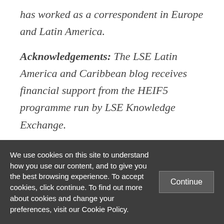has worked as a correspondent in Europe and Latin America.
Acknowledgements: The LSE Latin America and Caribbean blog receives financial support from the HEIF5 programme run by LSE Knowledge Exchange.
Comments policy: This blog welcomes feedback and comments in accordance with certain guidelines.
We use cookies on this site to understand how you use our content, and to give you the best browsing experience. To accept cookies, click continue. To find out more about cookies and change your preferences, visit our Cookie Policy.